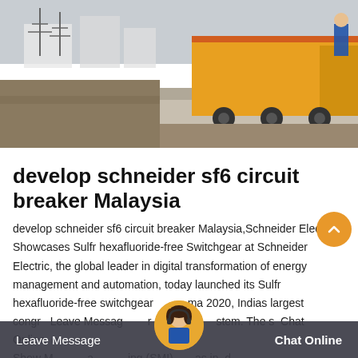[Figure (photo): Outdoor industrial/substation scene with yellow truck or heavy equipment vehicle on a concrete road, electrical infrastructure in background, grey sky.]
develop schneider sf6 circuit breaker Malaysia
develop schneider sf6 circuit breaker Malaysia,Schneider Electric : Showcases Sulfr hexafluoride-free Switchgear at Schneider Electric, the global leader in digital transformation of energy management and automation, today launched its Sulfr hexafluoride-free switchgear at Elecrama 2020, Indias largest congr Leave Message sector e stem. The s Chat Online es Show M a ing (SMI) as in d
Leave Message
Chat Online